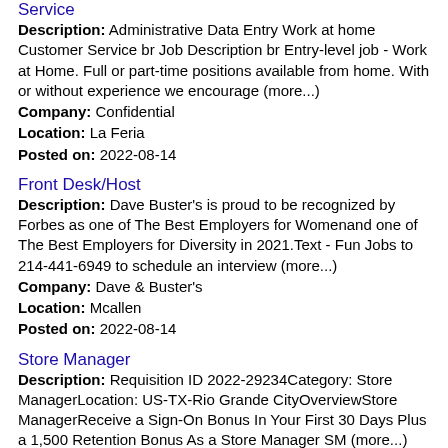Service
Description: Administrative Data Entry Work at home Customer Service br Job Description br Entry-level job - Work at Home. Full or part-time positions available from home. With or without experience we encourage (more...)
Company: Confidential
Location: La Feria
Posted on: 2022-08-14
Front Desk/Host
Description: Dave Buster's is proud to be recognized by Forbes as one of The Best Employers for Womenand one of The Best Employers for Diversity in 2021.Text - Fun Jobs to 214-441-6949 to schedule an interview (more...)
Company: Dave & Buster's
Location: Mcallen
Posted on: 2022-08-14
Store Manager
Description: Requisition ID 2022-29234Category: Store ManagerLocation: US-TX-Rio Grande CityOverviewStore ManagerReceive a Sign-On Bonus In Your First 30 Days Plus a 1,500 Retention Bonus As a Store Manager SM (more...)
Company: TMX Finance
Location: Rio Grande City
Posted on: 2022-08-15
Merchandiser